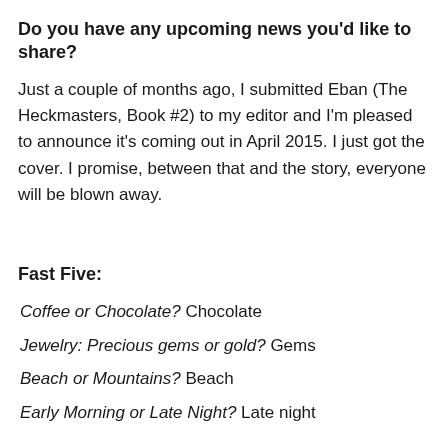Do you have any upcoming news you'd like to share?
Just a couple of months ago, I submitted Eban (The Heckmasters, Book #2) to my editor and I'm pleased to announce it's coming out in April 2015. I just got the cover. I promise, between that and the story, everyone will be blown away.
Fast Five:
Coffee or Chocolate? Chocolate
Jewelry: Precious gems or gold? Gems
Beach or Mountains? Beach
Early Morning or Late Night? Late night